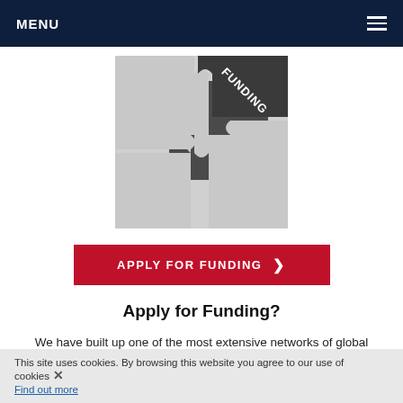MENU
[Figure (photo): Puzzle pieces with one dark piece labeled FUNDING in white text]
APPLY FOR FUNDING ›
Apply for Funding?
We have built up one of the most extensive networks of global investors looking to invest into Africa. Our investors range from seed capital investors all the way to the largest funds. If you would like to Apply For Funding
This site uses cookies. By browsing this website you agree to our use of cookies. Find out more